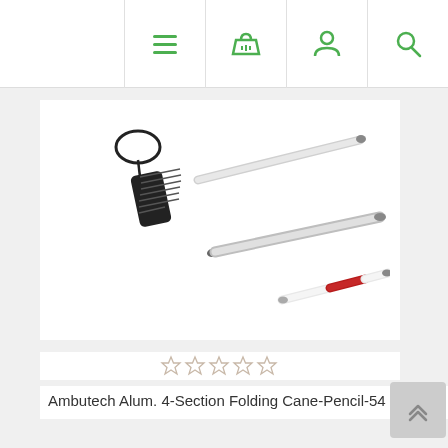Navigation bar with menu, cart, account, and search icons
[Figure (photo): Ambutech aluminum 4-section folding cane showing collapsed sections: black grip handle with wrist strap on top, two silver/white folded cane sections in the middle, and a lower section with a red band, all with pencil tips]
Ambutech Alum. 4-Section Folding Cane-Pencil-54 in